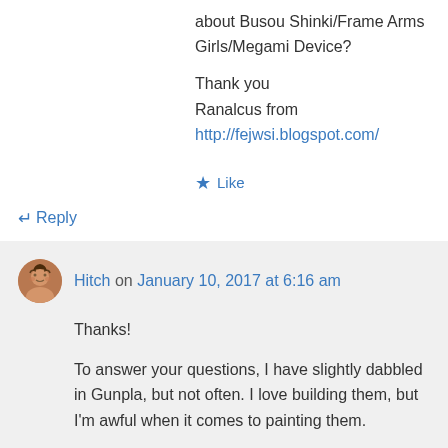about Busou Shinki/Frame Arms Girls/Megami Device?
Thank you
Ranalcus from http://fejwsi.blogspot.com/
★ Like
↵ Reply
Hitch on January 10, 2017 at 6:16 am
Thanks!
To answer your questions, I have slightly dabbled in Gunpla, but not often. I love building them, but I'm awful when it comes to painting them.